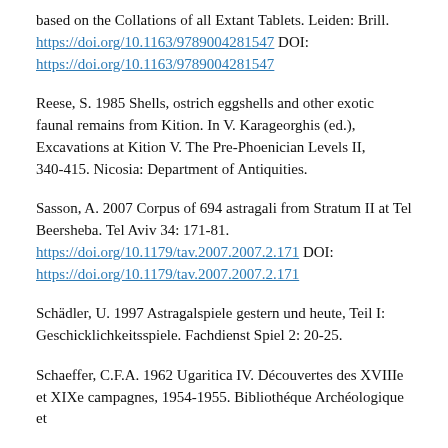based on the Collations of all Extant Tablets. Leiden: Brill. https://doi.org/10.1163/9789004281547 DOI: https://doi.org/10.1163/9789004281547
Reese, S. 1985 Shells, ostrich eggshells and other exotic faunal remains from Kition. In V. Karageorghis (ed.), Excavations at Kition V. The Pre-Phoenician Levels II, 340-415. Nicosia: Department of Antiquities.
Sasson, A. 2007 Corpus of 694 astragali from Stratum II at Tel Beersheba. Tel Aviv 34: 171-81. https://doi.org/10.1179/tav.2007.2007.2.171 DOI: https://doi.org/10.1179/tav.2007.2007.2.171
Schädler, U. 1997 Astragalspiele gestern und heute, Teil I: Geschicklichkeitsspiele. Fachdienst Spiel 2: 20-25.
Schaeffer, C.F.A. 1962 Ugaritica IV. Découvertes des XVIIIe et XIXe campagnes, 1954-1955. Bibliothéque Archéologique et